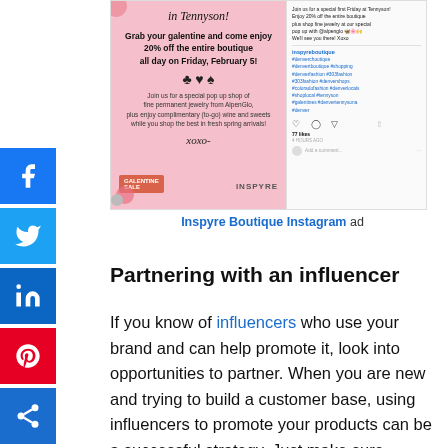[Figure (screenshot): Screenshot of Inspyre Boutique Instagram post advertising a Galentine's event with 20% off and a permanent jewelry pop-up shop. Left side shows a pink promotional graphic, right side shows the Instagram interface with comments and hashtags.]
Inspyre Boutique Instagram ad
Partnering with an influencer
If you know of influencers who use your brand and can help promote it, look into opportunities to partner. When you are new and trying to build a customer base, using influencers to promote your products can be a successful strategy. Just make sure